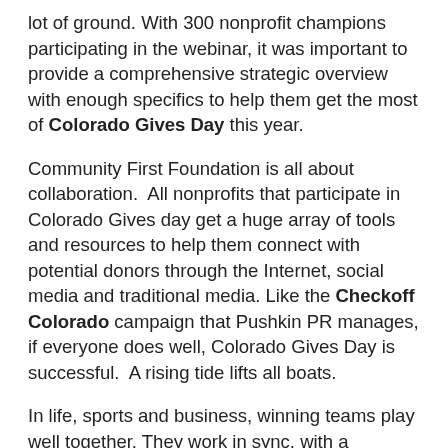lot of ground. With 300 nonprofit champions participating in the webinar, it was important to provide a comprehensive strategic overview with enough specifics to help them get the most of Colorado Gives Day this year.
Community First Foundation is all about collaboration. All nonprofits that participate in Colorado Gives day get a huge array of tools and resources to help them connect with potential donors through the Internet, social media and traditional media. Like the Checkoff Colorado campaign that Pushkin PR manages, if everyone does well, Colorado Gives Day is successful. A rising tide lifts all boats.
In life, sports and business, winning teams play well together. They work in sync, with a common goal in mind and with the knowledge that the best players make everyone on the team better.
Collaboration allows us to learn, grow and be better at whatever we do.
If you find it hard to manage every aspect of your business on your own, but you don't have the resources to add